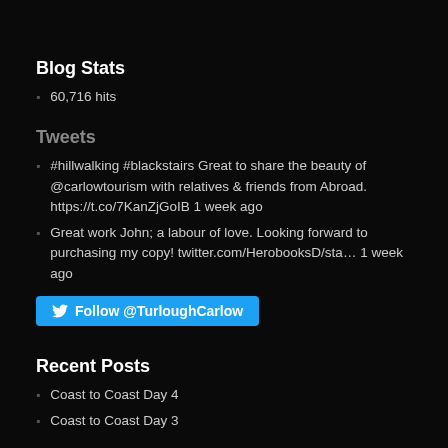Blog Stats
60,716 hits
Tweets
#hillwalking #blackstairs Great to share the beauty of @carlowtourism with relatives & friends from Abroad. https://t.co/7KanZjGoIB 1 week ago
Great work John; a labour of love. Looking forward to purchasing my copy! twitter.com/HerobooksD/sta… 1 week ago
[Figure (other): Follow @TurloughCarlow button on Twitter blue background]
Recent Posts
Coast to Coast Day 4
Coast to Coast Day 3